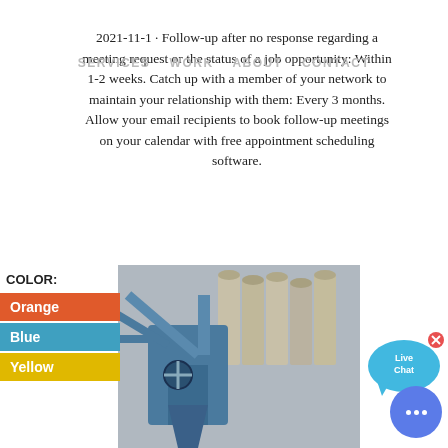2021-11-1 · Follow-up after no response regarding a meeting request or the status of a job opportunity: Within 1-2 weeks. Catch up with a member of your network to maintain your relationship with them: Every 3 months. Allow your email recipients to book follow-up meetings on your calendar with free appointment scheduling software.
[Figure (screenshot): Navigation bar overlay with text: SERVICES  WORK  ABOUT  CONTACT]
[Figure (illustration): Live Chat speech bubble icon with blue color and X close button]
COLOR:
Orange
Blue
Yellow
[Figure (photo): Industrial machinery photo showing blue equipment, pipes, silos and conveyor systems at a factory or plant]
[Figure (illustration): Blue circular chat button with three dots at bottom right]